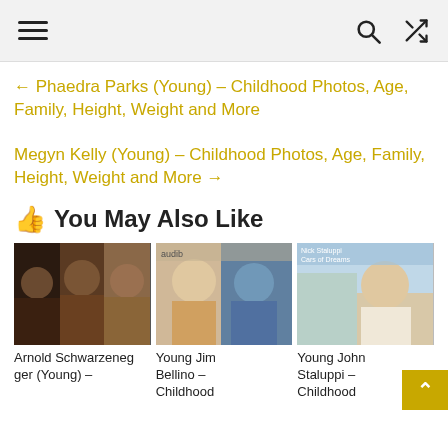Navigation bar with hamburger menu, search icon, shuffle icon
← Phaedra Parks (Young) – Childhood Photos, Age, Family, Height, Weight and More
Megyn Kelly (Young) – Childhood Photos, Age, Family, Height, Weight and More →
👍 You May Also Like
[Figure (photo): Arnold Schwarzenegger composite photo showing multiple images]
[Figure (photo): Young Jim Bellino photo with blonde woman and man in suit]
[Figure (photo): Young John Staluppi photo with man in white shirt]
Arnold Schwarzenegger (Young) –
Young Jim Bellino – Childhood
Young John Staluppi – Childhood